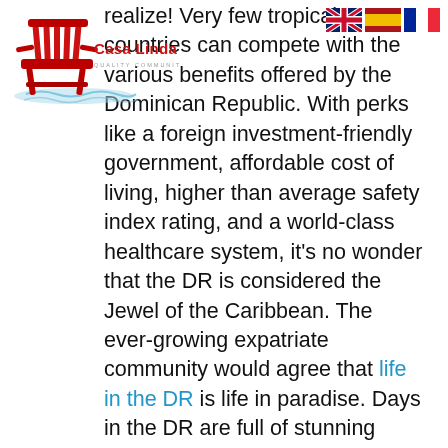[Figure (logo): Casa Linda logo: red Adirondack chair with water/waves at base, text 'Casa Linda' in red cursive/bold, 'QUALITY COMMUNITIES' in gray small caps below]
[Figure (illustration): Three country flag icons in a row: UK flag (Union Jack), Spanish flag, French flag]
realize! Very few tropical countries can compete with the various benefits offered by the Dominican Republic. With perks like a foreign investment-friendly government, affordable cost of living, higher than average safety index rating, and a world-class healthcare system, it's no wonder that the DR is considered the Jewel of the Caribbean. The ever-growing expatriate community would agree that life in the DR is life in paradise. Days in the DR are full of stunning beaches, with plenty of time for other activities, like kitesurfing, tennis, or hiking. The DR is also well known for its welcoming community of natives and expatriate residents. So whether